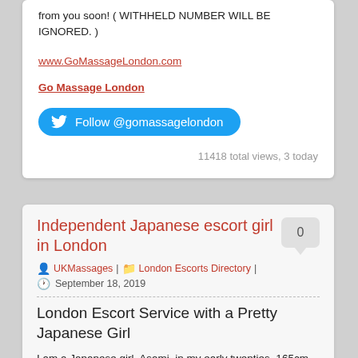from you soon! ( WITHHELD NUMBER WILL BE IGNORED. )
www.GoMassageLondon.com
Go Massage London
Follow @gomassagelondon
11418 total views, 3 today
Independent Japanese escort girl in London
UKMassages | London Escorts Directory | September 18, 2019
London Escort Service with a Pretty Japanese Girl
I am a Japanese girl, Asami, in my early twenties, 165cm, with stunning body. I am an independent call girl offering